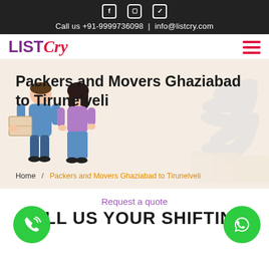Call us +91-9999736098 | info@listcry.com
LIST Cry
[Figure (illustration): ListCry website header with logo and hamburger menu]
Packers and Movers Ghaziabad to Tirunelveli
Home / Packers and Movers Ghaziabad to Tirunelveli
Request a quote
TELL US YOUR SHIFTING